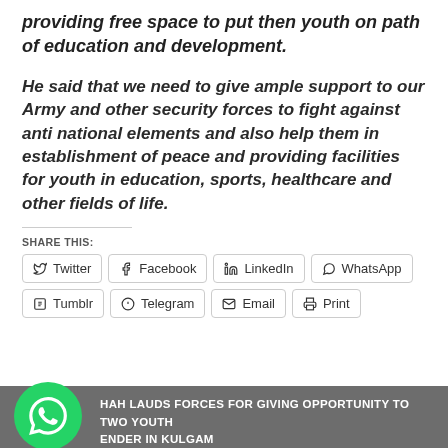providing free space to put then youth on path of education and development.
He said that we need to give ample support to our Army and other security forces to fight against anti national elements and also help them in establishment of peace and providing facilities for youth in education, sports, healthcare and other fields of life.
SHARE THIS:
Twitter  Facebook  LinkedIn  WhatsApp  Tumblr  Telegram  Email  Print
HAH LAUDS FORCES FOR GIVING OPPORTUNITY TO TWO YOUTH ENDER IN KULGAM